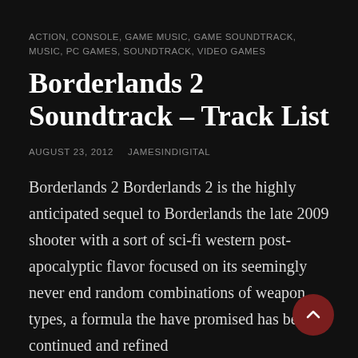ACTION, CONSOLE, GAME MUSIC, GAME SOUNDTRACK, MUSIC, PC GAMES, SOUNDTRACK, VIDEO GAMES
Borderlands 2 Soundtrack – Track List
AUGUST 23, 2012   JAMESINDIGITAL
Borderlands 2 Borderlands 2 is the highly anticipated sequel to Borderlands the late 2009 shooter with a sort of sci-fi western post-apocalyptic flavor focused on its seemingly never end random combinations of weapon types, a formula the have promised has been continued and refined